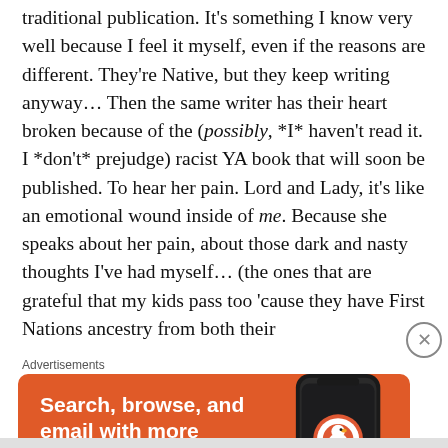traditional publication. It's something I know very well because I feel it myself, even if the reasons are different. They're Native, but they keep writing anyway… Then the same writer has their heart broken because of the (possibly, *I* haven't read it. I *don't* prejudge) racist YA book that will soon be published. To hear her pain. Lord and Lady, it's like an emotional wound inside of me. Because she speaks about her pain, about those dark and nasty thoughts I've had myself… (the ones that are grateful that my kids pass too 'cause they have First Nations ancestry from both their
[Figure (other): DuckDuckGo advertisement banner on orange background showing 'Search, browse, and email with more privacy. All in One Free App' with a phone graphic and DuckDuckGo logo]